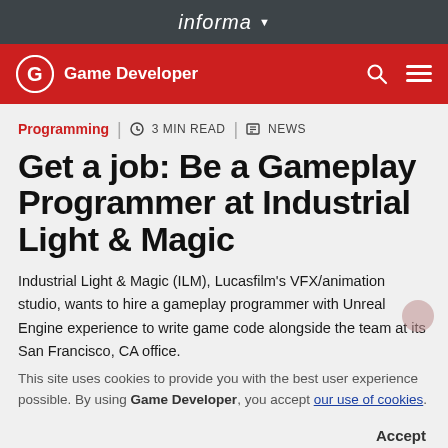informa
Game Developer
Programming  |  3 MIN READ  |  NEWS
Get a job: Be a Gameplay Programmer at Industrial Light & Magic
Industrial Light & Magic (ILM), Lucasfilm's VFX/animation studio, wants to hire a gameplay programmer with Unreal Engine experience to write game code alongside the team at its San Francisco, CA office.
This site uses cookies to provide you with the best user experience possible. By using Game Developer, you accept our use of cookies.
Accept
July 18, 2016